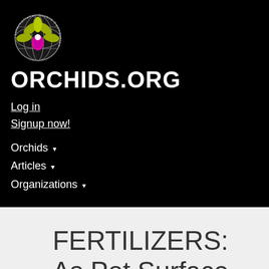[Figure (logo): International Orchid Foundation logo: orchid flower with globe background and circular text]
ORCHIDS.ORG
Log in
Signup now!
Orchids ▾
Articles ▾
Organizations ▾
FERTILIZERS: As Pot Surface Dressing, What